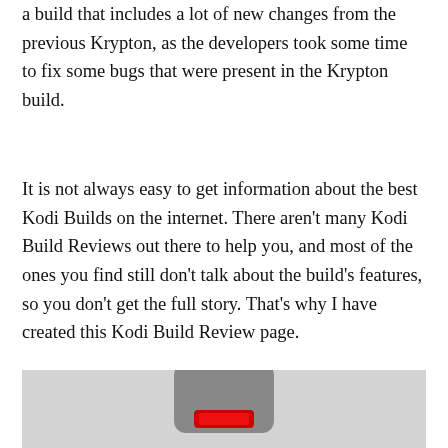a build that includes a lot of new changes from the previous Krypton, as the developers took some time to fix some bugs that were present in the Krypton build.
It is not always easy to get information about the best Kodi Builds on the internet. There aren't many Kodi Build Reviews out there to help you, and most of the ones you find still don't talk about the build's features, so you don't get the full story. That's why I have created this Kodi Build Review page.
[Figure (screenshot): Partial screenshot showing the Kodi application logo/icon on a grey background]